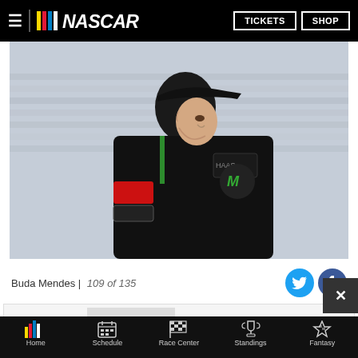NASCAR | TICKETS | SHOP
[Figure (photo): NASCAR driver in black Monster Energy / Stewart-Haas Racing firesuit and black cap, looking to the left, with grandstands visible in the blurred background. Photo by Buda Mendes / Getty Images.]
Buda Mendes | Getty Images   109 of 135
[Figure (screenshot): NASCAR advertisement banner: NASCAR logo with 'BUY TICKETS!' button in red, race car image, and text 'YOU'VE GOTTA BE THERE!']
Home | Schedule | Race Center | Standings | Fantasy